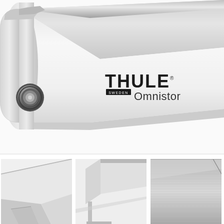[Figure (photo): Close-up product photo of a Thule Omnistor awning housing unit, white/silver finish, with the THULE SWEDEN logo and 'Omnistor' text visible on the side. The unit has a rounded left end cap with a metallic circular mechanism and silver accent trim on top.]
[Figure (photo): Small thumbnail photo showing a white/silver Thule awning bracket/mounting hardware close-up from below.]
[Figure (photo): Small thumbnail photo showing the corner end of a silver Thule Omnistor awning housing from a different angle.]
[Figure (photo): Small thumbnail photo showing brushed aluminum/metallic surface detail of the Thule awning housing.]